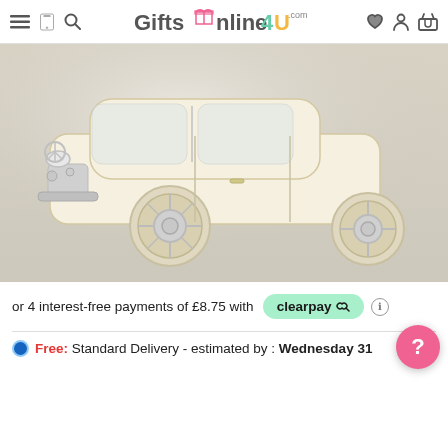GiftsOnline4U.com — navigation header with hamburger menu, phone, search, heart, account, and basket icons
[Figure (photo): Close-up photo of a silver and cream/white vintage toy car (VW Campervan style) on a beige surface, showing front and wheel details.]
or 4 interest-free payments of £8.75 with clearpay
Free: Standard Delivery - estimated by : Wednesday 31